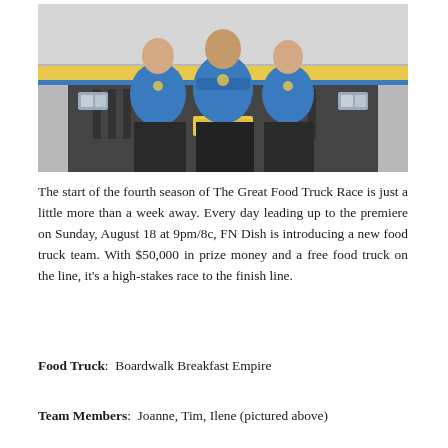[Figure (photo): Three people in blue t-shirts with arms crossed standing in front of a vintage food truck/van. The shirts appear to have a logo. The image has a slightly faded/muted color tone.]
The start of the fourth season of The Great Food Truck Race is just a little more than a week away. Every day leading up to the premiere on Sunday, August 18 at 9pm/8c, FN Dish is introducing a new food truck team. With $50,000 in prize money and a free food truck on the line, it's a high-stakes race to the finish line.
Food Truck:  Boardwalk Breakfast Empire
Team Members:  Joanne, Tim, Ilene (pictured above)